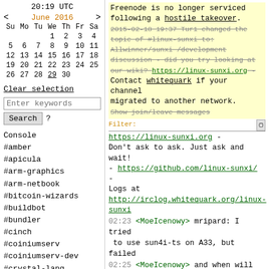20:19 UTC
< June 2016 >
| Su | Mo | Tu | We | Th | Fr | Sa |
| --- | --- | --- | --- | --- | --- | --- |
|  |  |  | 1 | 2 | 3 | 4 |
| 5 | 6 | 7 | 8 | 9 | 10 | 11 |
| 12 | 13 | 14 | 15 | 16 | 17 | 18 |
| 19 | 20 | 21 | 22 | 23 | 24 | 25 |
| 26 | 27 | 28 | 29 | 30 |  |  |
Clear selection
Enter keywords
Search ?
Console
#amber
#apicula
#arm-graphics
#arm-netbook
#bitcoin-wizards
#buildbot
#bundler
#cinch
#coiniumserv
#coiniumserv-dev
#crystal-lang
Freenode is no longer serviced following a hostile takeover. Contact whitequark if your channel migrated to another network. Allwinner/sunxi /development discussion - did you try looking at our wiki? https://linux-sunxi.org - Don't ask to ask. Just ask and wait! - https://github.com/linux-sunxi/ - Logs at http://irclog.whitequark.org/linux-sunxi
2015-02-18 19:37 Tur1 changed the topic of #linux-sunxi to:
Filter:
Show join/leave messages
02:23 <MoeIcenowy> mripard: I tried to use sun4i-ts on A33, but failed
02:25 <MoeIcenowy> and when will your I2S driver get merged?
02:25 <MoeIcenowy> (It seems that A33/A64's audiocodec used an internal I2S
02:37 <lennyraposo> quick question
02:37 <lennyraposo> has anyone used gcc 6 as of yet?
02:37 <MoeIcenowy> lennyraposo: on what purpose?
02:38 <MoeIcenowy> our distro is using gcc 6 for a few weeks
02:38 <lennyraposo> for compiling